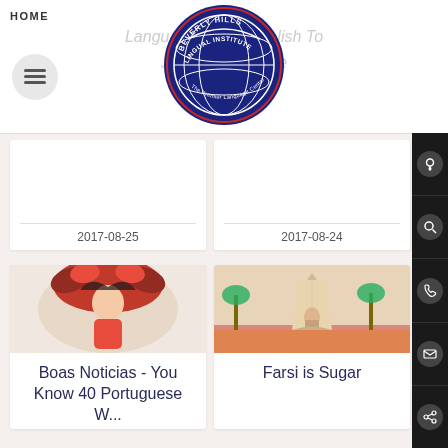HOME
[Figure (logo): Beverly Hills Lingual Institute circular logo with globe and text 'The Premier Language Center']
Language ... to Polish To Jazz ... Me
[Figure (other): Card showing date 2017-08-25]
[Figure (other): Card showing date 2017-08-24]
[Figure (photo): Colorful carnival dancer in red feathered costume]
Boas Noticias - You Know 40 Portuguese W...
[Figure (photo): Azadi Tower in Tehran with orange flowers and palm trees]
Farsi is Sugar